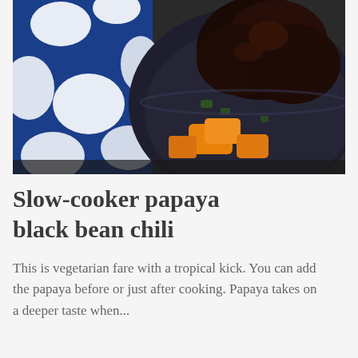[Figure (photo): Close-up photo of slow-cooker papaya black bean chili served in a dark blue bowl, with orange papaya chunks and dark braised meat visible. A blue and white patterned fabric/textile is visible in the background.]
Slow-cooker papaya black bean chili
This is vegetarian fare with a tropical kick. You can add the papaya before or just after cooking. Papaya takes on a deeper taste when...